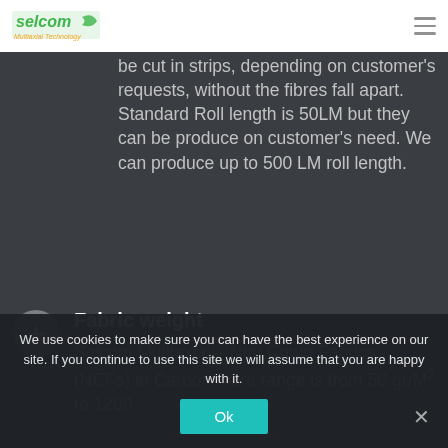[Figure (logo): Selcom Multiaxial Technology logo with green text and graphic]
be cut in strips, depending on customer's requests, without the fibres fall apart. Standard Roll length is 50LM but they can be produce on customer's need. We can produce up to 500 LM roll length.
Fabric weight
Selcom Multiaxial – Non Crimp Fabrics (NCFs) in Carbon Fibre range is from 50 gr/M² to 1200
We use cookies to make sure you can have the best experience on our site. If you continue to use this site we will assume that you are happy with it.